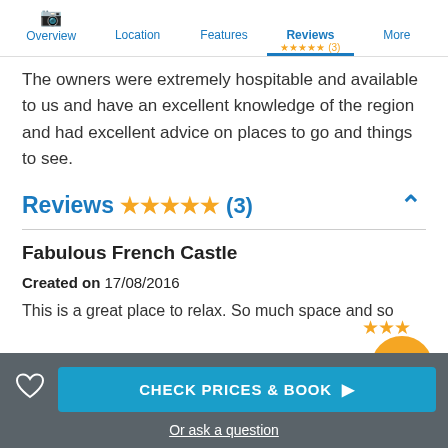Overview | Location | Features | Reviews ★★★★★ (3) | More
The owners were extremely hospitable and available to us and have an excellent knowledge of the region and had excellent advice on places to go and things to see.
Reviews ★★★★★ (3)
Fabulous French Castle
Created on 17/08/2016
This is a great place to relax. So much space and so